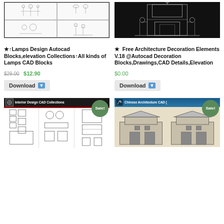[Figure (illustration): Lamps CAD blocks grid thumbnail, white background with blueprint-style lamp drawings in 4 quadrants]
[Figure (illustration): Architecture decoration elements dark background with detailed classical column/entrance CAD drawing]
★↑Lamps Design Autocad Blocks,elevation Collections↑All kinds of Lamps CAD Blocks
★  Free Architecture Decoration Elements V.18 @Autocad Decoration Blocks,Drawings,CAD Details,Elevation
$29.00 $12.90
$0.00
Download
Download
[Figure (illustration): Interior Design CAD Collections product thumbnail with sale badge, showing dense CAD block layouts]
[Figure (illustration): Chinese Architecture CAD collections thumbnail with sale badge, showing traditional Chinese building elevations]